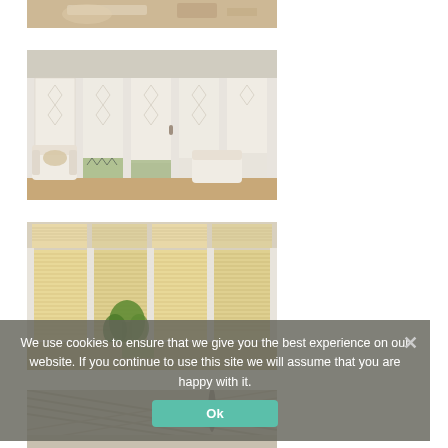[Figure (photo): Partial top view of a living room interior with a sofa and magazine on a table]
[Figure (photo): Conservatory room with white roller blinds on large glass doors and windows, white armchairs]
[Figure (photo): Conservatory with pleated/honeycomb blinds in beige/cream covering large windows and doors, green plant visible]
[Figure (photo): Partial bottom view of a conservatory interior with ceiling fan and diagonal roof blinds]
We use cookies to ensure that we give you the best experience on our website. If you continue to use this site we will assume that you are happy with it.